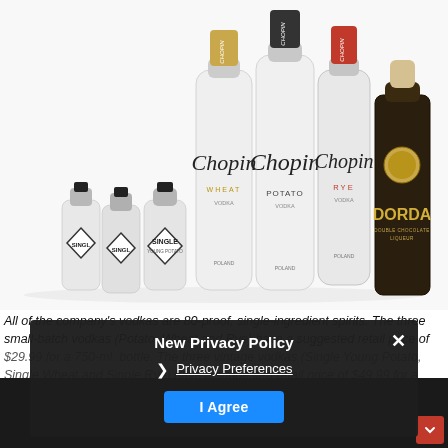[Figure (photo): Product photo showing multiple Chopin vodka bottles (Single Young Potato, Single Wheat, Single Rye vintage vodkas in small bottles, and full-size Chopin Wheat, Chopin Potato, Chopin Rye vodkas) alongside a dark Dorda Double Chocolate Liqueur bottle, all arranged on a white surface.]
All of the company's vodkas are 80-proof, single-ingredient spirits. The three small-batch vodkas (Potato, Wheat and Rye) have a suggested retail price of $29.99 for a 750-ml. bottle. The three vintage vodkas (Single Young Potato, Single Wheat and Single Rye) have a suggested retail price of $49.99 for a 375-ml. bottle.
New Privacy Policy
Privacy Preferences
I Agree
BD: What is your opinion of the current vodka market?
TD: I want to elevate the conversation about vodka — it does have to be a tasteless spirit just used for mixing. Mixability